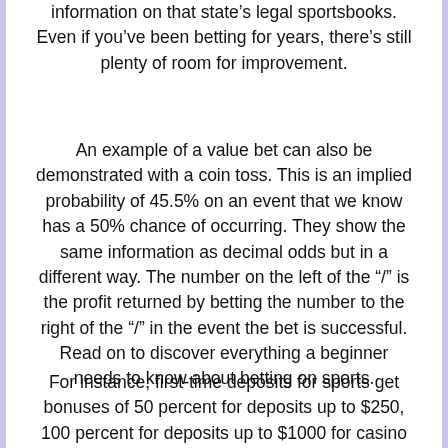information on that state's legal sportsbooks. Even if you've been betting for years, there's still plenty of room for improvement.
An example of a value bet can also be demonstrated with a coin toss. This is an implied probability of 45.5% on an event that we know has a 50% chance of occurring. They show the same information as decimal odds but in a different way. The number on the left of the "/" is the profit returned by betting the number to the right of the "/" in the event the bet is successful. Read on to discover everything a beginner needs to know about betting on sports.
For instance, first-time deposits for sports get bonuses of 50 percent for deposits up to $250, 100 percent for deposits up to $1000 for casino bets, and 100 percent for deposits up to $1000 as poker bonus. After covering